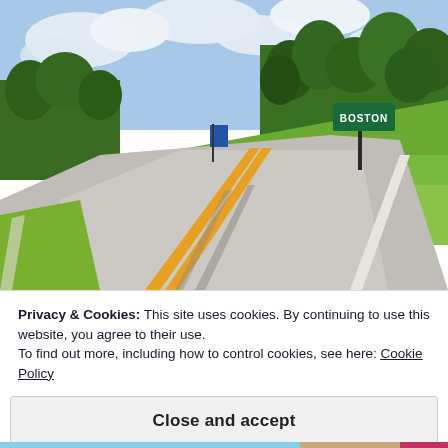[Figure (photo): A two-lane rural road curving to the right with double yellow center lines, flanked by green trees and grass on the right side. A green 'BOSTON' road sign is visible on the right. Cloudy blue sky above.]
Privacy & Cookies: This site uses cookies. By continuing to use this website, you agree to their use.
To find out more, including how to control cookies, see here: Cookie Policy
Close and accept
[Figure (photo): Partial view of another photo at the bottom of the page, showing a building or structure with a pink/red element.]